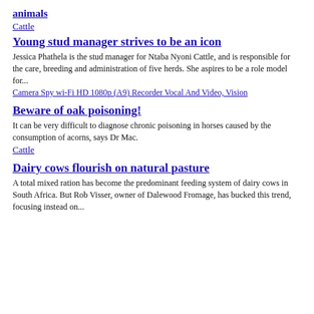animals
Cattle
Young stud manager strives to be an icon
Jessica Phathela is the stud manager for Ntaba Nyoni Cattle, and is responsible for the care, breeding and administration of five herds. She aspires to be a role model for...
Camera Spy wi-Fi HD 1080p (A9) Recorder Vocal And Video, Vision
Beware of oak poisoning!
It can be very difficult to diagnose chronic poisoning in horses caused by the consumption of acorns, says Dr Mac.
Cattle
Dairy cows flourish on natural pasture
A total mixed ration has become the predominant feeding system of dairy cows in South Africa. But Rob Visser, owner of Dalewood Fromage, has bucked this trend, focusing instead on...